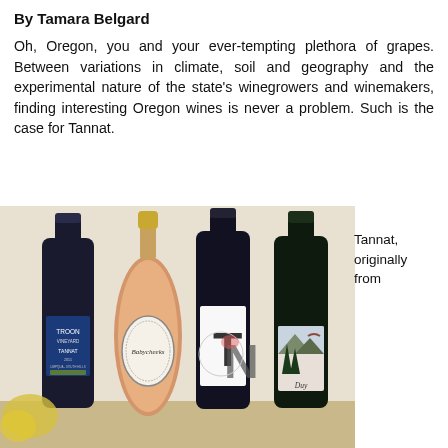By Tamara Belgard
Oh, Oregon, you and your ever-tempting plethora of grapes. Between variations in climate, soil and geography and the experimental nature of the state's winegrowers and winemakers, finding interesting Oregon wines is never a problem. Such is the case for Tannat.
[Figure (photo): Four wine bottles standing together against a light background: first bottle with blue label reading 'Troon Vineyard Tannat', second bottle with ornate oval label reading 'Babycheeks', third dark bottle with large 'TN' lettering label, and fourth dark bottle with a forest/bird scene label reading 'Duy'.]
Tannat, originally from